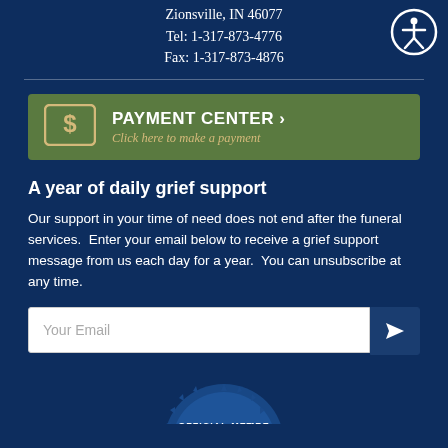Zionsville, IN 46077
Tel: 1-317-873-4776
Fax: 1-317-873-4876
[Figure (illustration): Accessibility icon — white stick figure with arms and legs spread in a circle outline, dark navy background]
PAYMENT CENTER > Click here to make a payment
A year of daily grief support
Our support in your time of need does not end after the funeral services.  Enter your email below to receive a grief support message from us each day for a year.  You can unsubscribe at any time.
Your Email
[Figure (logo): Partial blue badge/seal with text OFFICIAL MEMBER visible at bottom of page]